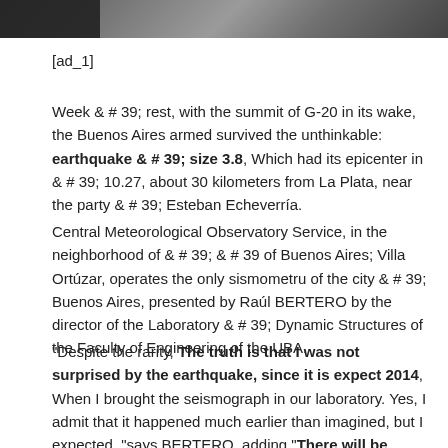[Figure (photo): Partial photo strip at the top of the page showing a grey textured surface, partially obscured by a dark region on the left.]
[ad_1]
Week & # 39; rest, with the summit of G-20 in its wake, the Buenos Aires armed survived the unthinkable: earthquake & # 39; size 3.8, Which had its epicenter in & # 39; 10.27, about 30 kilometers from La Plata, near the party & # 39; Esteban Echeverría.
Central Meteorological Observatory Service, in the neighborhood of & # 39; & # 39 of Buenos Aires; Villa Ortúzar, operates the only sismometru of the city & # 39; Buenos Aires, presented by Raúl BERTERO by the director of the Laboratory & # 39; Dynamic Structures of the Faculty of Engineering of the UBA.
"Despite the rarity, The truth is that I was not surprised by the earthquake, since it is expect 2014, When I brought the seismograph in our laboratory. Yes, I admit that it happened much earlier than imagined, but I expected, "says BERTERO, adding."There will be other more b & # 39; health, but in a long time"